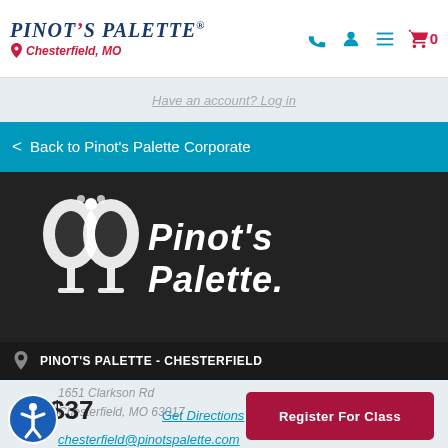Pinot's Palette - Chesterfield, MO
Have an account? Log in
< Back to Pinot's Palette Corporate
[Figure (logo): Pinot's Palette white logo on dark background]
PINOT'S PALETTE - CHESTERFIELD
1651 Clarkson Rd
Chesterfield, MO 63017
$37
Get Directions
Register For Class
chesterfield@pinotspalette.com